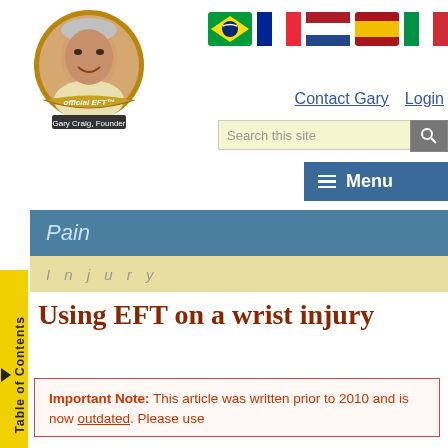[Figure (logo): Gary Craig official EFT founder circular logo with photo portrait and golden ribbon banner]
[Figure (illustration): Five country flag icons: Brazil, France, Netherlands, Spain, Italy]
Contact Gary   Login
Search this site
Menu
Pain
Injury
Using EFT on a wrist injury
Important Note: This article was written prior to 2010 and is now outdated. Please use